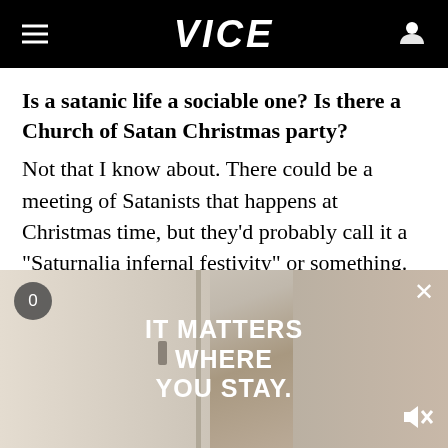VICE
Is a satanic life a sociable one? Is there a Church of Satan Christmas party?
Not that I know about. There could be a meeting of Satanists that happens at Christmas time, but they'd probably call it a "Saturnalia infernal festivity" or something.
You're not one for Christmas presents or
[Figure (screenshot): Video advertisement overlay showing text 'IT MATTERS WHERE YOU STAY.' with a video counter showing 0, a close button X, and a mute button in the bottom right.]